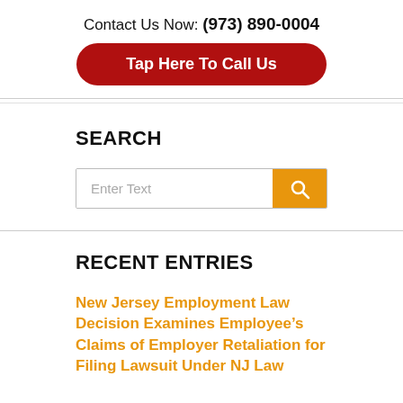Contact Us Now: (973) 890-0004
Tap Here To Call Us
SEARCH
[Figure (other): Search input box with orange search button]
RECENT ENTRIES
New Jersey Employment Law Decision Examines Employee’s Claims of Employer Retaliation for Filing Lawsuit Under NJ Law